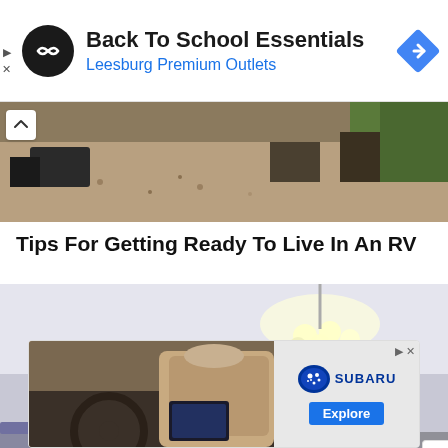[Figure (screenshot): Advertisement banner for 'Back To School Essentials' by Leesburg Premium Outlets, with circular logo on left and blue navigation diamond icon on right]
[Figure (photo): Top portion of an outdoor scene showing gravel ground with some equipment and green grass/foliage in background, partially cropped with collapse button]
Tips For Getting Ready To Live In An RV
[Figure (photo): Interior of an RV or modern room showing a ceiling with light fixture, light gray walls, a clock on the wall, and living room furniture in the background]
[Figure (screenshot): Subaru advertisement banner showing interior car dashboard view on the left and Subaru logo with Explore button on the right]